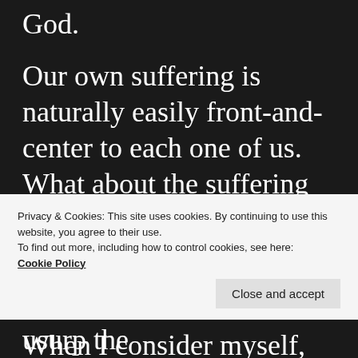God.
Our own suffering is naturally easily front-and-center to each one of us. What about the suffering we caused and even now cause God by our wayward choices?!
When I consider myself, the wider Church on earth and yes, Son House, I recognize our deepest need. A
Privacy & Cookies: This site uses cookies. By continuing to use this website, you agree to their use.
To find out more, including how to control cookies, see here: Cookie Policy
nobody can replace nor usurp the